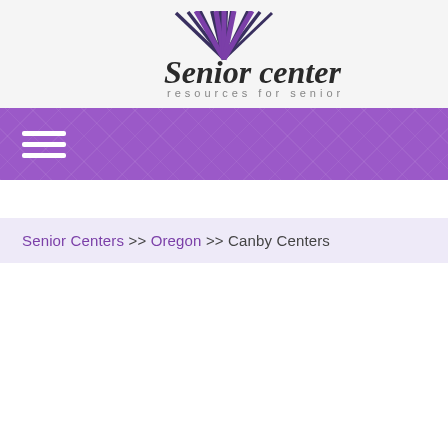[Figure (logo): Senior Center logo with sunburst graphic above the text 'Senior center' in bold italic and 'resources for seniors' in smaller spaced letters below]
[Figure (other): Purple navigation bar with hamburger menu icon (three horizontal white lines) on the left, with a diamond/quilted pattern texture]
Senior Centers >> Oregon >> Canby Centers